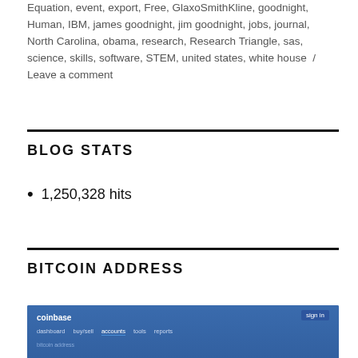Equation, event, export, Free, GlaxoSmithKline, goodnight, Human, IBM, james goodnight, jim goodnight, jobs, journal, North Carolina, obama, research, Research Triangle, sas, science, skills, software, STEM, united states, white house / Leave a comment
BLOG STATS
1,250,328 hits
BITCOIN ADDRESS
[Figure (screenshot): Screenshot of Coinbase website header with navigation bar showing dark blue background, Coinbase logo, sign in button, and navigation links.]